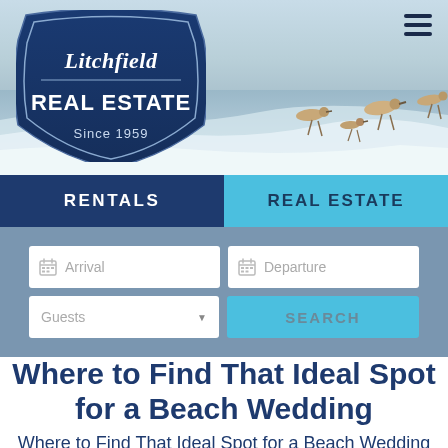[Figure (photo): Beach header photo with shorebirds (sandpipers) running along the water's edge with waves and foam, light blue sky and ocean background]
[Figure (logo): Litchfield Real Estate logo - navy blue badge shape with 'Litchfield' in italic script and 'REAL ESTATE' in bold block letters, 'Since 1959' below in white]
RENTALS
REAL ESTATE
Arrival
Departure
Guests
SEARCH
Where to Find That Ideal Spot for a Beach Wedding
Where to Find That Ideal Spot for a Beach Wedding